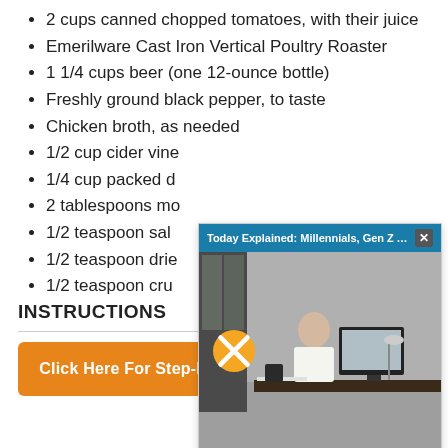2 cups canned chopped tomatoes, with their juice
Emerilware Cast Iron Vertical Poultry Roaster
1 1/4 cups beer (one 12-ounce bottle)
Freshly ground black pepper, to taste
Chicken broth, as needed
1/2 cup cider vine[gar]
1/4 cup packed [brown sugar]
2 tablespoons mo[lasses]
1/2 teaspoon sal[t]
1/2 teaspoon drie[d thyme]
1/2 teaspoon cru[shed red pepper]
[Figure (screenshot): Video overlay popup with teal header bar reading 'Today Explained: Millennials, Gen Z Are '...' and an X close button, showing a thumbnail of a woman sitting at a desk with a computer in an office environment, with a yellow mute button icon overlaid on the video thumbnail.]
INSTRUCTIONS
Click Here For Step-By-Step Instructions